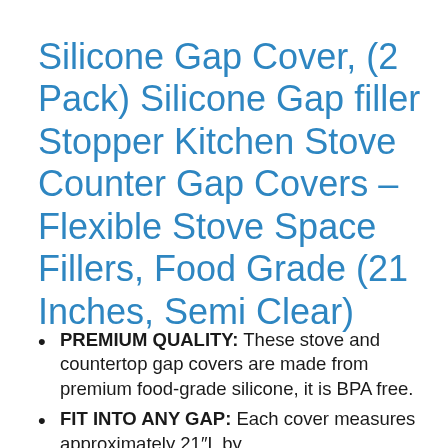Silicone Gap Cover, (2 Pack) Silicone Gap filler Stopper Kitchen Stove Counter Gap Covers – Flexible Stove Space Fillers, Food Grade (21 Inches, Semi Clear)
PREMIUM QUALITY: These stove and countertop gap covers are made from premium food-grade silicone, it is BPA free.
FIT INTO ANY GAP: Each cover measures approximately 21″L by